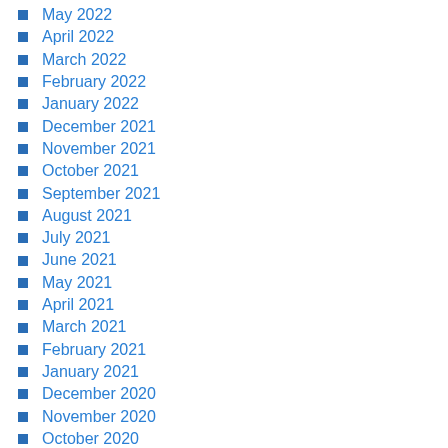May 2022
April 2022
March 2022
February 2022
January 2022
December 2021
November 2021
October 2021
September 2021
August 2021
July 2021
June 2021
May 2021
April 2021
March 2021
February 2021
January 2021
December 2020
November 2020
October 2020
September 2020
August 2020
July 2020
June 2020
May 2020